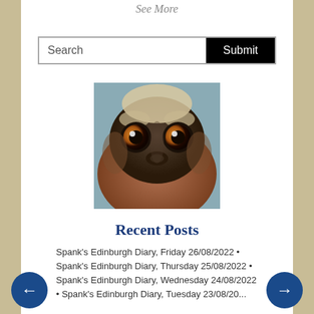See More
[Figure (other): Search bar with text input labeled 'Search' and a black 'Submit' button]
[Figure (photo): Close-up photo of a primate (loris or similar animal) with large round brown eyes and dark facial markings, facing the camera]
Recent Posts
Spank's Edinburgh Diary, Friday 26/08/2022
Spank's Edinburgh Diary, Thursday 25/08/2022
Spank's Edinburgh Diary, Wednesday 24/08/2022
Spank's Edinburgh Diary, Tuesday 23/08/20...